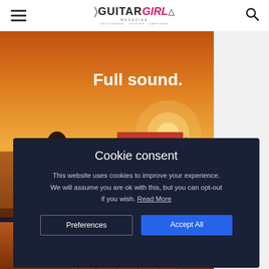Guitar Girl Magazine — Encourage. Inspire. Empower.
[Figure (photo): Advertisement showing a woman playing acoustic guitar on a beach at sunset with text 'Full sound.' and a red 'LEARN MORE' button]
Cookie consent
This website uses cookies to improve your experience. We will assume you are ok with this, but you can opt-out if you wish. Read More
Preferences
Accept All
[Figure (photo): Partial view of a guitar headstock and neck at the bottom of the page]